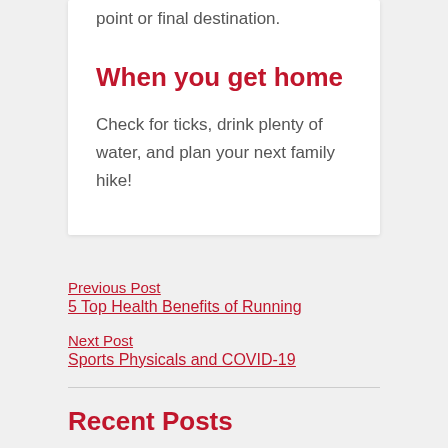point or final destination.
When you get home
Check for ticks, drink plenty of water, and plan your next family hike!
Previous Post
5 Top Health Benefits of Running
Next Post
Sports Physicals and COVID-19
Recent Posts